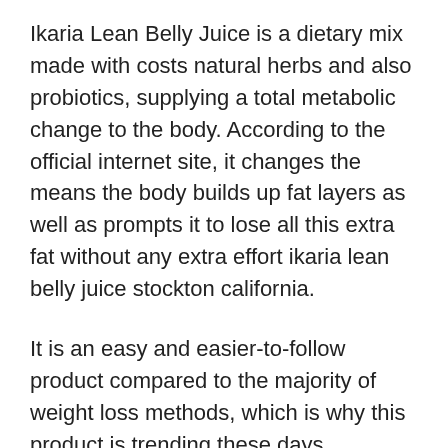Ikaria Lean Belly Juice is a dietary mix made with costs natural herbs and also probiotics, supplying a total metabolic change to the body. According to the official internet site, it changes the means the body builds up fat layers as well as prompts it to lose all this extra fat without any extra effort ikaria lean belly juice stockton california.
It is an easy and easier-to-follow product compared to the majority of weight loss methods, which is why this product is trending these days. Surprisingly it has already made it to the listing of top-selling fat burning supplements of 2022 as well as is high in demand.
It is an advancement formula developed in a